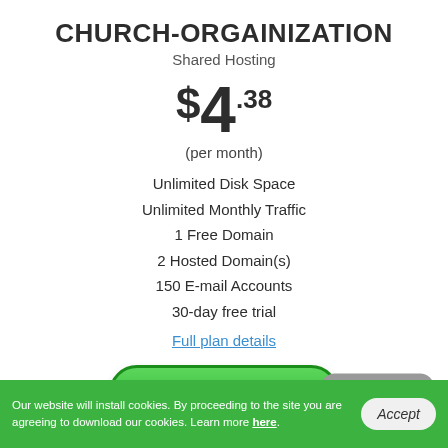CHURCH-ORGAINIZATION
Shared Hosting
$4.38
(per month)
Unlimited Disk Space
Unlimited Monthly Traffic
1 Free Domain
2 Hosted Domain(s)
150 E-mail Accounts
30-day free trial
Full plan details
Start Free Trial
Live Chat
Our website will install cookies. By proceeding to the site you are agreeing to download our cookies. Learn more here.